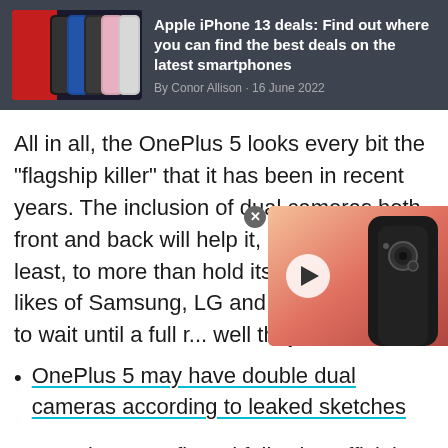[Figure (infographic): Promotional banner with iPhone 13 phones image on dark background]
Apple iPhone 13 deals: Find out where you can find the best deals on the latest smartphones
By Conor Allison · 16 June 2022
All in all, the OnePlus 5 looks every bit the "flagship killer" that it has been in recent years. The inclusion of dual cameras both front and back will help it, on paper at least, to more than hold its own against the likes of Samsung, LG and ev... we'll have to wait until a full r... well they work.
[Figure (photo): Video thumbnail showing a smartphone camera against a sunset background with a play button overlay]
OnePlus 5 may have double dual cameras according to leaked sketches
OnePlus 5 confirmed following official teaser from CEO